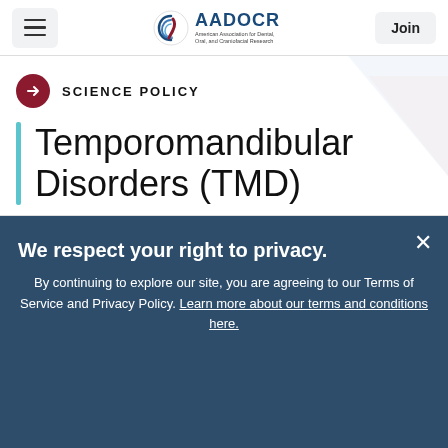AADOCR — American Association for Dental, Oral, and Craniofacial Research | Join
SCIENCE POLICY
Temporomandibular Disorders (TMD)
The AADOCR recognizes that temporomandibular disorders (TMDs) encompass a group of musculoskeletal and neuromuscular conditions that involve the temporomandibular joints (TMJs), the masticatory muscles, and all associated tissues.
We respect your right to privacy. By continuing to explore our site, you are agreeing to our Terms of Service and Privacy Policy. Learn more about our terms and conditions here.